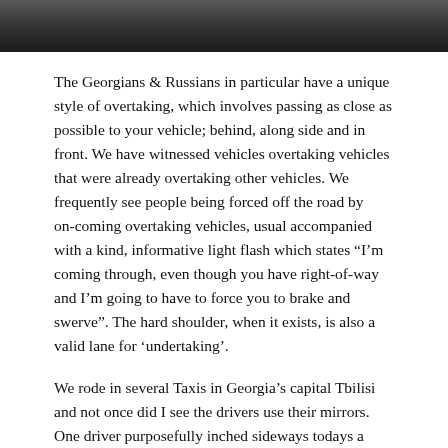[Figure (photo): Dark landscape or road photo strip at the top of the page]
The Georgians & Russians in particular have a unique style of overtaking, which involves passing as close as possible to your vehicle; behind, along side and in front. We have witnessed vehicles overtaking vehicles that were already overtaking other vehicles. We frequently see people being forced off the road by on-coming overtaking vehicles, usual accompanied with a kind, informative light flash which states “I’m coming through, even though you have right-of-way and I’m going to have to force you to brake and swerve”. The hard shoulder, when it exists, is also a valid lane for ‘undertaking’.
We rode in several Taxis in Georgia’s capital Tbilisi and not once did I see the drivers use their mirrors. One driver purposefully inched sideways todays a lady driver to intimidate her and another reached out his